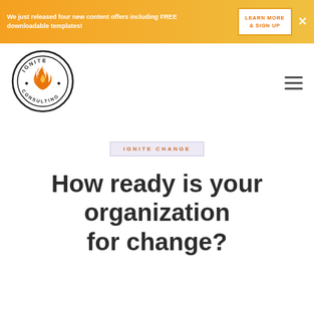We just released four new content offers including FREE downloadable templates! LEARN MORE & SIGN UP
[Figure (logo): Ignite Consulting circular logo with flame icon]
IGNITE CHANGE
How ready is your organization for change?